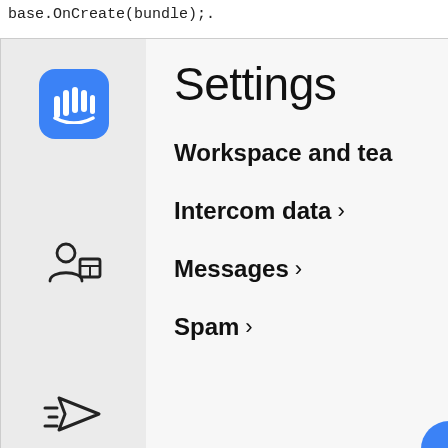base.OnCreate(bundle);.
[Figure (screenshot): Intercom app Settings screen showing a left sidebar with icons (Intercom logo, contacts icon, send icon) and a right panel listing: Settings title, Workspace and team, Intercom data >, Messages >, Spam >]